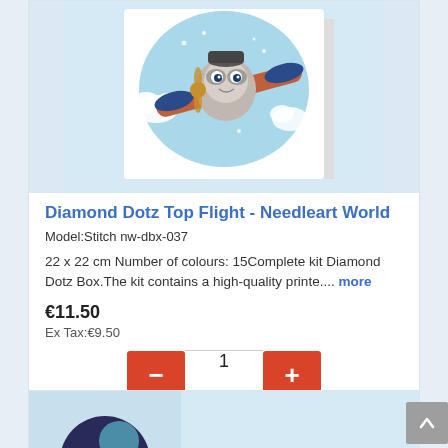[Figure (photo): Product image of Diamond Dotz Top Flight kit showing a cartoon raccoon piloting an airplane with clouds on a light blue background, displayed on a white box/canvas.]
Diamond Dotz Top Flight - Needleart World
Model:Stitch nw-dbx-037
22 x 22 cm Number of colours: 15Complete kit Diamond Dotz Box.The kit contains a high-quality printe.... more
€11.50
Ex Tax:€9.50
[Figure (photo): Partial view of a second product card showing a diamond dotz kit image partially visible at the bottom of the page.]